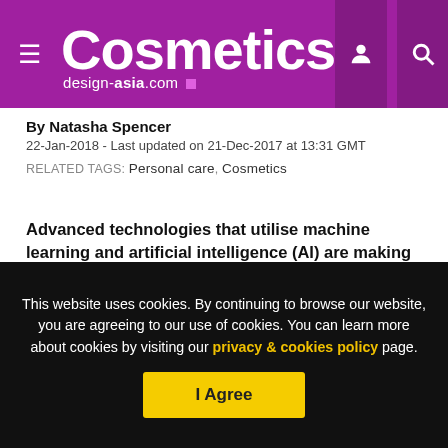Cosmetics design-asia.com
By Natasha Spencer
22-Jan-2018 - Last updated on 21-Dec-2017 at 13:31 GMT
RELATED TAGS: Personal care, Cosmetics
Advanced technologies that utilise machine learning and artificial intelligence (AI) are making their way into cosmetics and personal care brands' online stores and physical shelves, and into the homes of consumers.
This website uses cookies. By continuing to browse our website, you are agreeing to our use of cookies. You can learn more about cookies by visiting our privacy & cookies policy page.
I Agree